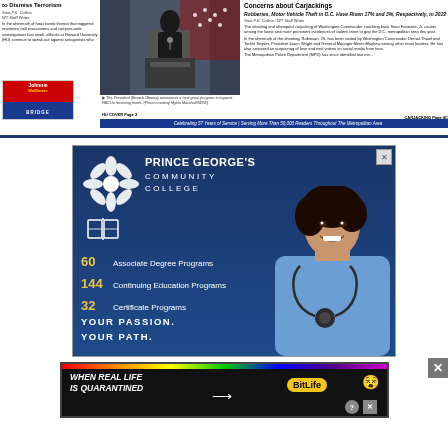[Figure (screenshot): Newspaper front page top portion showing three columns: left column with article about bomb threats and campus safety at Howard University, center column with photo of President Barack Obama at a podium, right column with article about carjackings and motor vehicle theft statistics in D.C.]
to Dismiss Terrorism
Sara P.K. Collins / WT Staff Writer
In the aftermath of hoax bomb threats that triggered residence hall evacuations and campus-wide investigations last week, officials at Howard University (HU) continue to speak out against antagonists who have not only rattled the local, historically-Black college but several others across the US, this year.
Concerns about Carjackings
Robberies, Motor Vehicle Theft in D.C. Have Risen 17% and 3%, Respectively, in 2022
The President (Barack Obama) announces a new grant program to support HBCUs receiving funds. (Photo courtesy Myles Marshall/MDW)
Celebrating 57 Years of Service | Serving More Than 50,000 Readers Throughout The Metropolitan Area
[Figure (infographic): Prince George's Community College advertisement with blue background showing college logo with snowflake design, statistics: 60 Associate Degree Programs, 144 Continuing Education Programs, 32 Certificate Programs, tagline YOUR PASSION. YOUR PATH., and photo of smiling woman in medical scrubs with stethoscope]
[Figure (screenshot): BitLife mobile game advertisement with black background, rainbow bar at top, text WHEN REAL LIFE IS QUARANTINED, BitLife logo and emoji characters]